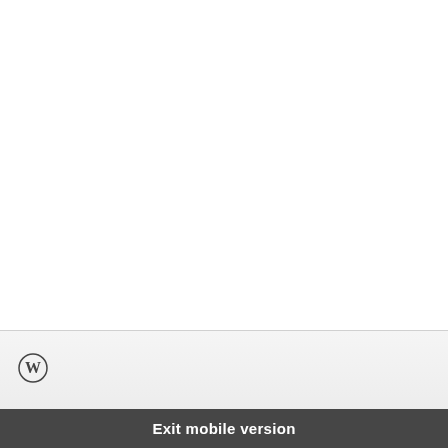[Figure (logo): WordPress logo icon (W in a circle), dark gray, approximately 30x30px, positioned in the light gray footer bar on the left side]
Exit mobile version